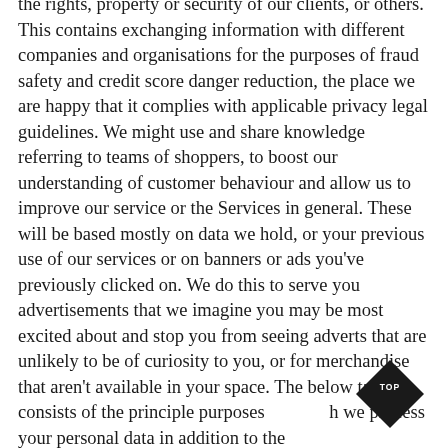the rights, property or security of our clients, or others. This contains exchanging information with different companies and organisations for the purposes of fraud safety and credit score danger reduction, the place we are happy that it complies with applicable privacy legal guidelines. We might use and share knowledge referring to teams of shoppers, to boost our understanding of customer behaviour and allow us to improve our service or the Services in general. These will be based mostly on data we hold, or your previous use of our services or on banners or ads you've previously clicked on. We do this to serve you advertisements that we imagine you may be most excited about and stop you from seeing adverts that are unlikely to be of curiosity to you, or for merchandise that aren't available in your space. The below table consists of the principle purposes for which we process your personal data in addition to the